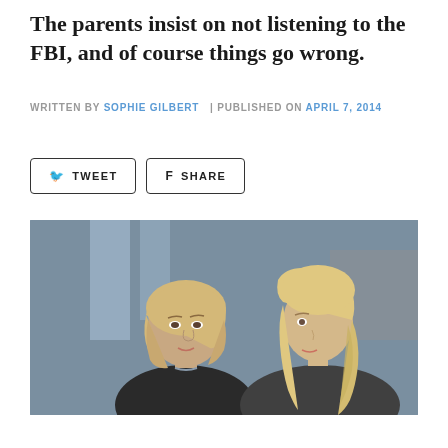The parents insist on not listening to the FBI, and of course things go wrong.
WRITTEN BY SOPHIE GILBERT | PUBLISHED ON APRIL 7, 2014
[Figure (photo): Two blonde women facing each other in what appears to be an office or professional setting. The woman on the left has a short bob haircut and is wearing a dark blazer. The woman on the right has long wavy hair.]